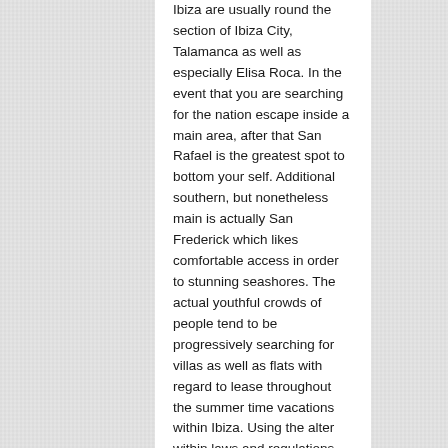Ibiza are usually round the section of Ibiza City, Talamanca as well as especially Elisa Roca. In the event that you are searching for the nation escape inside a main area, after that San Rafael is the greatest spot to bottom your self. Additional southern, but nonetheless main is actually San Frederick which likes comfortable access in order to stunning seashores. The actual youthful crowds of people tend to be progressively searching for villas as well as flats with regard to lease throughout the summer time vacations within Ibiza. Using the alter within laws and regulations membership licensing clubbers are in possession of nowhere fast to visit through 6 'm till sixteen. thirty and therefore are progressively seeking to save money period from their own host to home.
Vacation villas tend to be comfy to